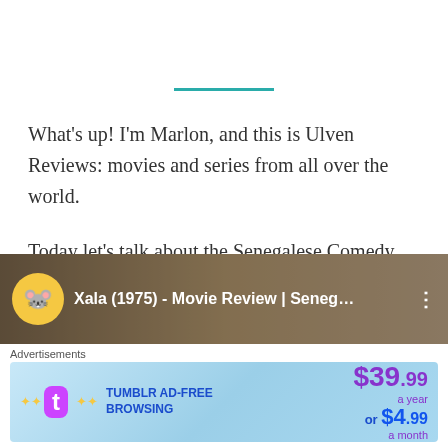[Figure (other): Teal horizontal decorative line separator]
What’s up! I’m Marlon, and this is Ulven Reviews: movies and series from all over the world.
Today let’s talk about the Senegalese Comedy Xala, directed by Ousmane Sembène.
[Figure (screenshot): Video thumbnail for Xala (1975) - Movie Review | Seneg... with yellow cartoon mouse icon on left and three-dot menu on right]
Advertisements
[Figure (other): Tumblr Ad-Free Browsing advertisement banner showing $39.99 a year or $4.99 a month pricing]